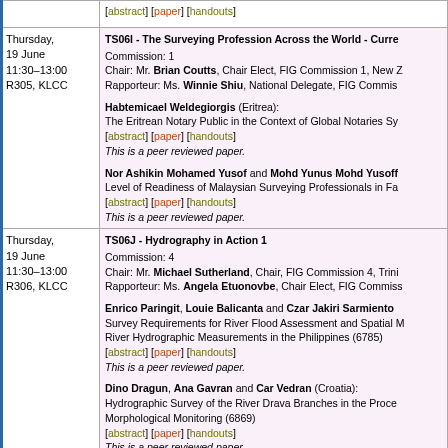| Date/Time/Room | Session/Presentations |
| --- | --- |
|  | [abstract] [paper] [handouts] |
| Thursday, 19 June
11:30–13:00
R305, KLCC | TS06I - The Surveying Profession Across the World - Curre...
Commission: 1
Chair: Mr. Brian Coutts, Chair Elect, FIG Commission 1, New...
Rapporteur: Ms. Winnie Shiu, National Delegate, FIG Commis...

Habtemicael Weldegiorgis (Eritrea):
The Eritrean Notary Public in the Context of Global Notaries Sy...
[abstract] [paper] [handouts]
This is a peer reviewed paper.

Nor Ashikin Mohamed Yusof and Mohd Yunus Mohd Yusoff...
Level of Readiness of Malaysian Surveying Professionals in Fa...
[abstract] [paper] [handouts]
This is a peer reviewed paper. |
| Thursday, 19 June
11:30–13:00
R306, KLCC | TS06J - Hydrography in Action 1
Commission: 4
Chair: Mr. Michael Sutherland, Chair, FIG Commission 4, Trini...
Rapporteur: Ms. Angela Etuonovbe, Chair Elect, FIG Commiss...

Enrico Paringit, Louie Balicanta and Czar Jakiri Sarmiento...
Survey Requirements for River Flood Assessment and Spatial...
River Hydrographic Measurements in the Philippines (6785)
[abstract] [paper] [handouts]
This is a peer reviewed paper.

Dino Dragun, Ana Gavran and Car Vedran (Croatia):
Hydrographic Survey of the River Drava Branches in the Proce...
Morphological Monitoring (6869)
[abstract] [paper] [handouts]
This is a peer reviewed paper. |